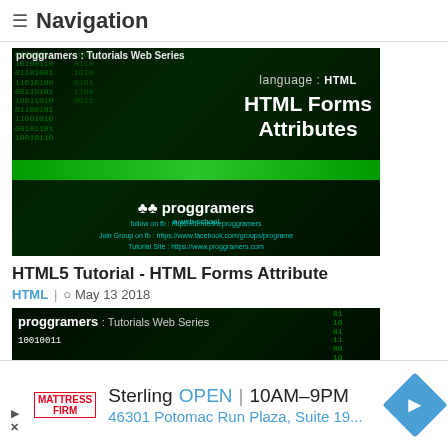≡ Navigation
[Figure (screenshot): Dark-themed tutorial thumbnail for 'HTML Forms Attributes' - proggrammers Tutorials Web Series, showing matrix-style green binary code background with text: language: HTML, HTML Forms Attributes, proggramers a web school logo, with social links]
HTML5 Tutorial - HTML Forms Attribute
HTML | ⊙ May 13 2018
[Figure (screenshot): Partially visible dark-themed tutorial thumbnail showing 'proggrramers : Tutorials Web Series' and 'language : HTML' text on matrix background]
Sterling OPEN | 10AM–9PM
46301 Potomac Run Plaza, Suite 19...